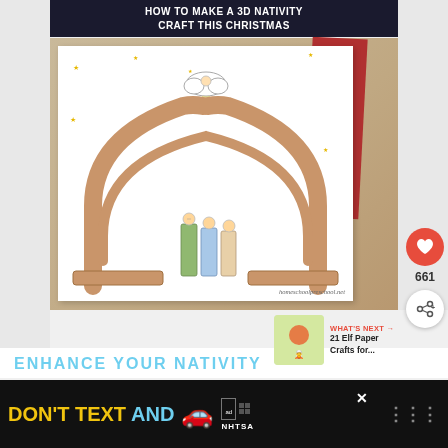[Figure (photo): 3D nativity craft made from paper with arch, figurines, angel/cloud, and stars. Title text overlay reads 'HOW TO MAKE A 3D NATIVITY CRAFT THIS CHRISTMAS'. Watermark: homeschoolpreschool.net]
661
WHAT'S NEXT → 21 Elf Paper Crafts for...
ENHANCE YOUR NATIVITY
DON'T TEXT AND [car emoji] ad NHTSA